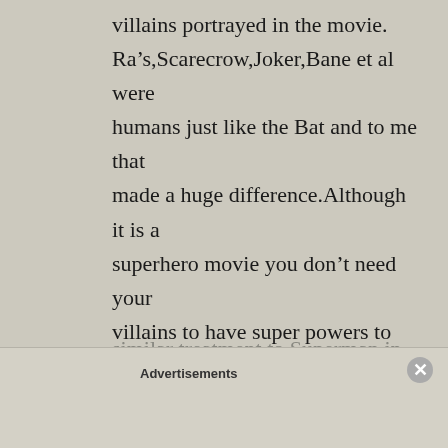villains portrayed in the movie. Ra's,Scarecrow,Joker,Bane et al were humans just like the Bat and to me that made a huge difference.Although it is a superhero movie you don't need your villains to have super powers to make them super villains,Just by doing that he made all the villains even more diabolical. The Avengers (I loved it) seemed childish in comparison. Nolan has set the bar really high and I am now looking forward to a similar treatment to Superman in next
Advertisements